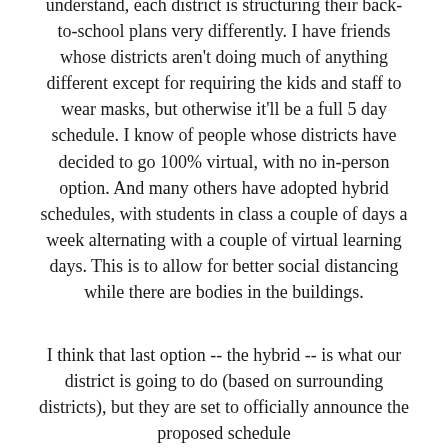understand, each district is structuring their back-to-school plans very differently. I have friends whose districts aren't doing much of anything different except for requiring the kids and staff to wear masks, but otherwise it'll be a full 5 day schedule. I know of people whose districts have decided to go 100% virtual, with no in-person option. And many others have adopted hybrid schedules, with students in class a couple of days a week alternating with a couple of virtual learning days. This is to allow for better social distancing while there are bodies in the buildings.
I think that last option -- the hybrid -- is what our district is going to do (based on surrounding districts), but they are set to officially announce the proposed schedule